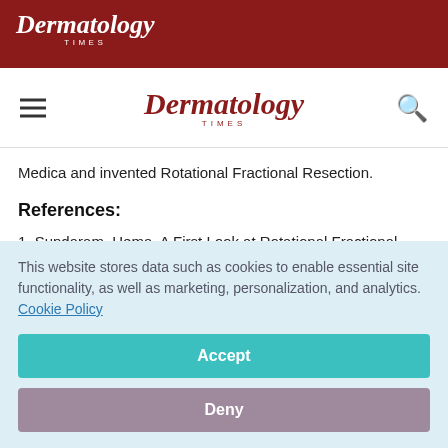Dermatology Times
Dermatology Times
Medica and invented Rotational Fractional Resection.
References:
1. Sundaram, Hema. A First Look at Rotational Fractional Resection. Practical Dermatology. December 2018. Accessed online Aug. 27, 2019. Available at:
This website stores data such as cookies to enable essential site functionality, as well as marketing, personalization, and analytics. Cookie Policy
Accept
Deny